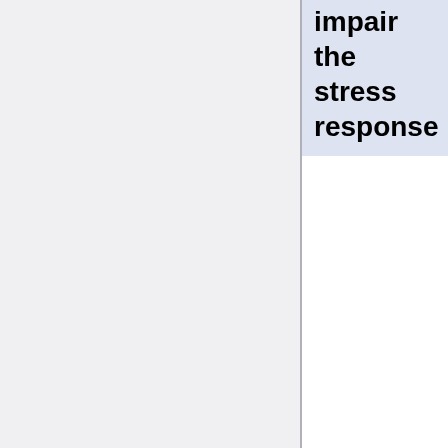impair the stress response
349024355
2021. The OM-85 bacterial lysate inhibits